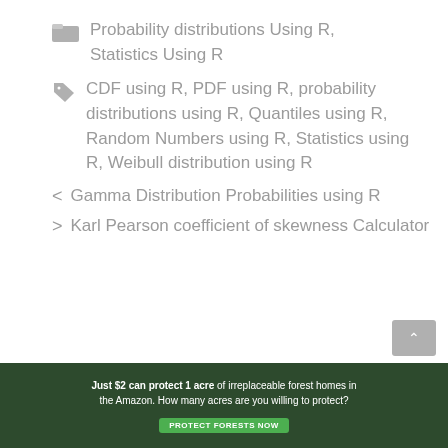Probability distributions Using R, Statistics Using R
CDF using R, PDF using R, probability distributions using R, Quantiles using R, Random Numbers using R, Statistics using R, Weibull distribution using R
< Gamma Distribution Probabilities using R
> Karl Pearson coefficient of skewness Calculator
[Figure (other): Advertisement banner: 'Just $2 can protect 1 acre of irreplaceable forest homes in the Amazon. How many acres are you willing to protect?' with a green PROTECT FORESTS NOW button, dark forest background.]